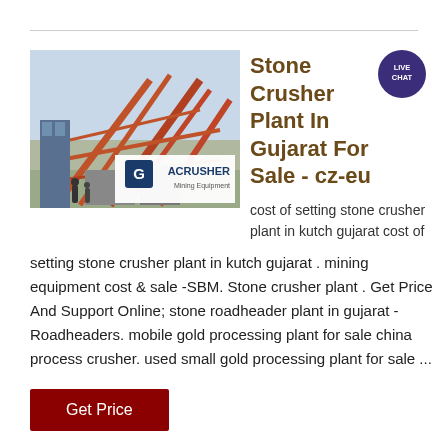[Figure (photo): Industrial stone crusher plant with orange metal framework structures and ACrusher Mining Equipment logo overlay]
Stone Crusher Plant In Gujarat For Sale - cz-eu
cost of setting stone crusher plant in kutch gujarat cost of setting stone crusher plant in kutch gujarat . mining equipment cost & sale -SBM. Stone crusher plant . Get Price And Support Online; stone roadheader plant in gujarat - Roadheaders. mobile gold processing plant for sale china process crusher. used small gold processing plant for sale ...
Get Price